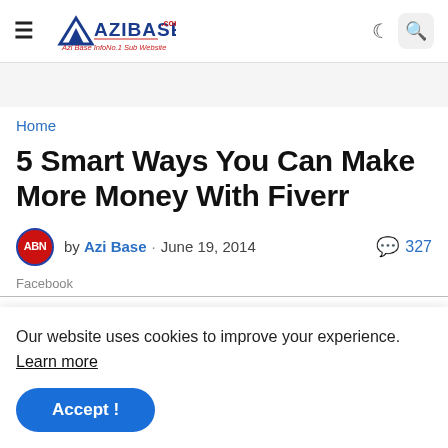AZIBASE.COM navigation header with hamburger menu, logo, moon/dark-mode icon, and search button
Home
5 Smart Ways You Can Make More Money With Fiverr
by Azi Base · June 19, 2014  327
Facebook
Our website uses cookies to improve your experience. Learn more
Accept !